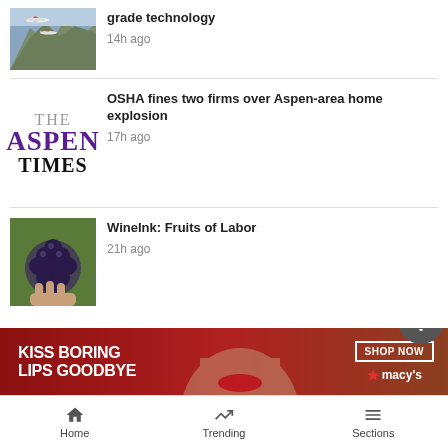[Figure (photo): Airplane flying over mountain landscape]
grade technology
14h ago
[Figure (logo): The Aspen Times logo]
OSHA fines two firms over Aspen-area home explosion
17h ago
[Figure (photo): Hands picking dark grapes]
WineInk: Fruits of Labor
21h ago
SEE MORE ›
[Figure (photo): Macy's advertisement: KISS BORING LIPS GOODBYE, SHOP NOW]
Home   Trending   Sections